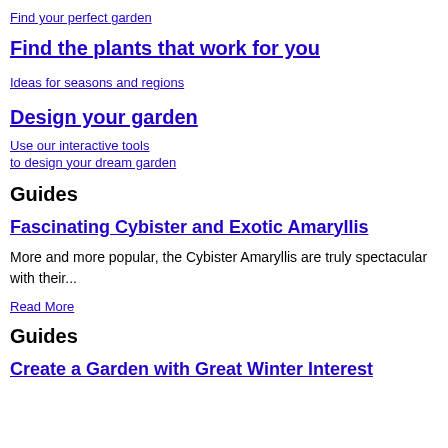Find your perfect garden
Find the plants that work for you
Ideas for seasons and regions
Design your garden
Use our interactive tools
to design your dream garden
Guides
Fascinating Cybister and Exotic Amaryllis
More and more popular, the Cybister Amaryllis are truly spectacular with their...
Read More
Guides
Create a Garden with Great Winter Interest